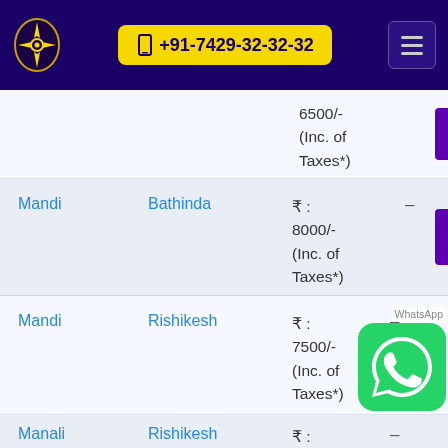+91-7429-32-32-32
| From | To | Price |  |
| --- | --- | --- | --- |
|  |  | ₹ : 6500/- (Inc. of Taxes*) | – |
| Mandi | Bathinda | ₹ : 8000/- (Inc. of Taxes*) | – |
| Mandi | Rishikesh | ₹ : 7500/- (Inc. of Taxes*) | – |
| Manali | Rishikesh | ₹ : 7500/- | – |